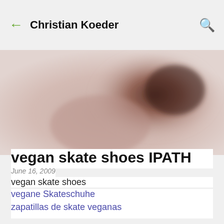Christian Koeder
[Figure (photo): Blurred photo of a person, partially visible at top of content area]
vegan skate shoes IPATH
June 16, 2009
vegan skate shoes
vegane Skateschuhe
zapatillas de skate veganas
IPATH makes leather, synthetic and hemp shoes. They have a special section on their website called "Vegan Shoes" and another one called "Hemp Shoes". I'm assuming that all of the shoes in the "Hemp Shoes"